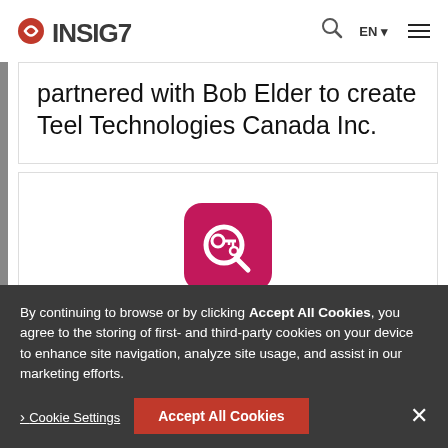INSIG7 | EN | navigation menu
partnered with Bob Elder to create Teel Technologies Canada Inc.
[Figure (logo): MOBILedit logo: pink rounded square icon with magnifying glass and circuit/key symbol, followed by bold text 'MOBILedit®' and small 'by' below]
By continuing to browse or by clicking Accept All Cookies, you agree to the storing of first- and third-party cookies on your device to enhance site navigation, analyze site usage, and assist in our marketing efforts.
Cookie Settings | Accept All Cookies | ×